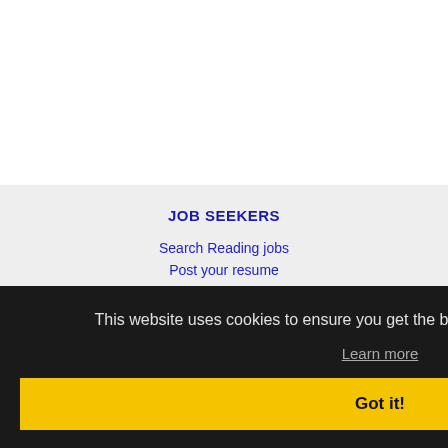JOB SEEKERS
Search Reading jobs
Post your resume
Email job alerts
Register / Log in
EMPLOYERS
Post jobs
Search resumes
Email resume alerts
Advertise
This website uses cookies to ensure you get the best experience on our website.
Learn more
Got it!